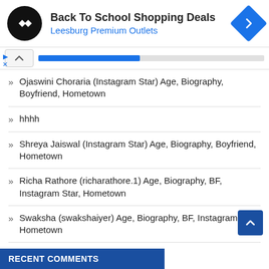[Figure (screenshot): Advertisement banner for Back To School Shopping Deals at Leesburg Premium Outlets with logo and navigation icon]
Ojaswini Choraria (Instagram Star) Age, Biography, Boyfriend, Hometown
hhhh
Shreya Jaiswal (Instagram Star) Age, Biography, Boyfriend, Hometown
Richa Rathore (richarathore.1) Age, Biography, BF, Instagram Star, Hometown
Swaksha (swakshaiyer) Age, Biography, BF, Instagram Star, Hometown
RECENT COMMENTS